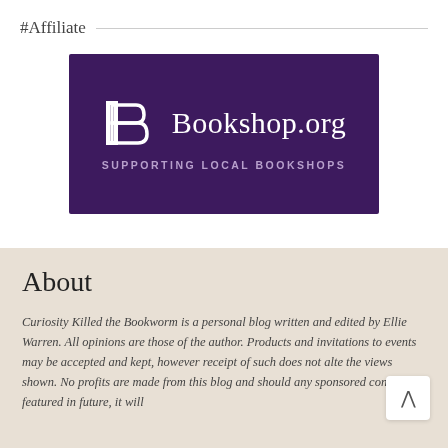#Affiliate
[Figure (logo): Bookshop.org logo on dark purple background with stylized B icon and text 'Bookshop.org' and subtitle 'SUPPORTING LOCAL BOOKSHOPS']
About
Curiosity Killed the Bookworm is a personal blog written and edited by Ellie Warren. All opinions are those of the author. Products and invitations to events may be accepted and kept, however receipt of such does not alter the views shown. No profits are made from this blog and should any sponsored content be featured in future, it will